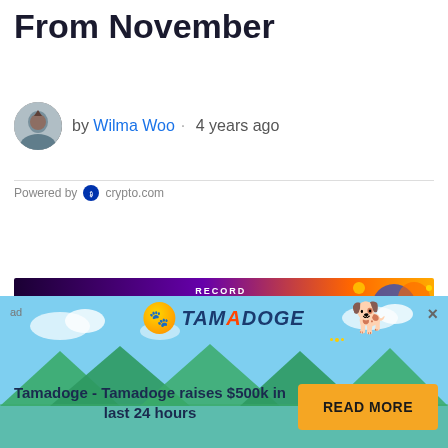From November
by Wilma Woo · 4 years ago
Powered by crypto.com
[Figure (infographic): BitStarz casino banner: RECORD BREAKING WIN $2,459,124]
[Figure (infographic): BitStarz casino ad box]
[Figure (infographic): cross ad box]
[Figure (infographic): Tamadoge promotional overlay banner with text: Tamadoge - Tamadoge raises $500k in last 24 hours, READ MORE button]